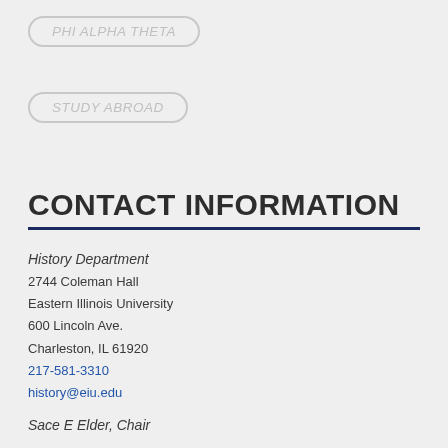PHI ALPHA THETA
STUDY ABROAD
CONTACT INFORMATION
History Department
2744 Coleman Hall
Eastern Illinois University
600 Lincoln Ave.
Charleston, IL 61920
217-581-3310
history@eiu.edu
Sace E Elder, Chair